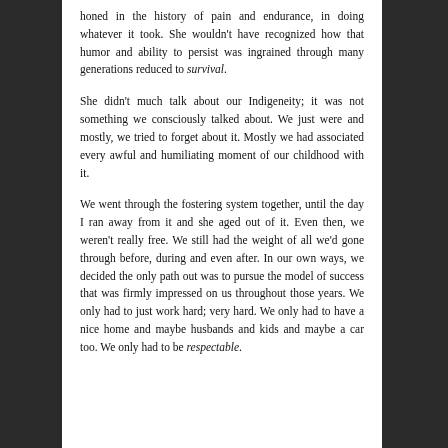honed in the history of pain and endurance, in doing whatever it took. She wouldn't have recognized how that humor and ability to persist was ingrained through many generations reduced to survival.
She didn't much talk about our Indigeneity; it was not something we consciously talked about. We just were and mostly, we tried to forget about it. Mostly we had associated every awful and humiliating moment of our childhood with it.
We went through the fostering system together, until the day I ran away from it and she aged out of it. Even then, we weren't really free. We still had the weight of all we'd gone through before, during and even after. In our own ways, we decided the only path out was to pursue the model of success that was firmly impressed on us throughout those years. We only had to just work hard; very hard. We only had to have a nice home and maybe husbands and kids and maybe a car too. We only had to be respectable.